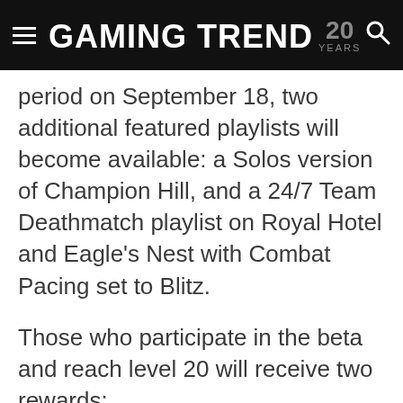GAMING TREND 20 YEARS
period on September 18, two additional featured playlists will become available: a Solos version of Champion Hill, and a 24/7 Team Deathmatch playlist on Royal Hotel and Eagle's Nest with Combat Pacing set to Blitz.
Those who participate in the beta and reach level 20 will receive two rewards:
A Weapon Blueprint for Call of Duty Vanguard and Warzone, available in Vanguard following the game's launch on November 5, and in Warzone when